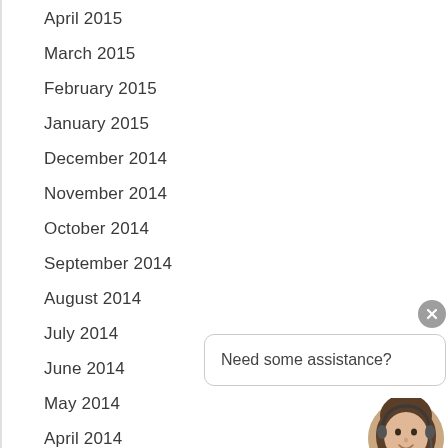April 2015
March 2015
February 2015
January 2015
December 2014
November 2014
October 2014
September 2014
August 2014
July 2014
June 2014
May 2014
April 2014
March 2014
February 2014
[Figure (infographic): Chat support widget with close button (grey X), a speech bubble saying 'Need some assistance?', and an avatar photo of a woman with a headset and a green online indicator dot.]